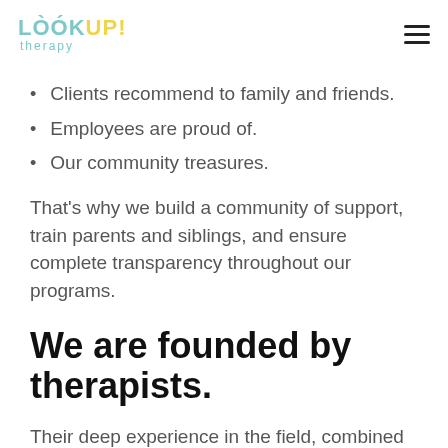LOOK UP! therapy
Clients recommend to family and friends.
Employees are proud of.
Our community treasures.
That's why we build a community of support, train parents and siblings, and ensure complete transparency throughout our programs.
We are founded by therapists.
Their deep experience in the field, combined with their personal familial experience, provides an